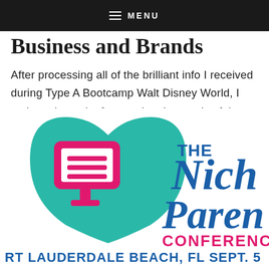MENU
Business and Brands
After processing all of the brilliant info I received during Type A Bootcamp Walt Disney World, I took on the task of recapping the magic of the event.
[Figure (logo): The Niche Parent Conference logo with teal badge shape, pink monitor icon, blue script text reading 'THE Niche Paren[t]' and pink text 'CONFERENC[E]']
RT LAUDERDALE BEACH, FL SEPT. 5